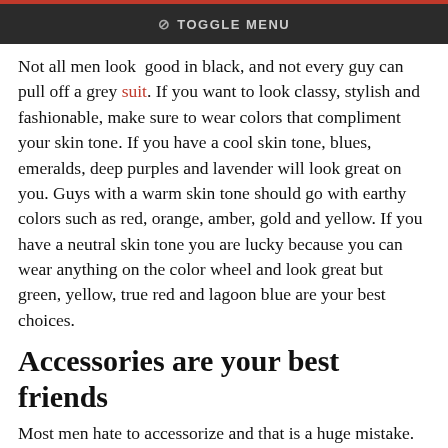TOGGLE MENU
Not all men look good in black, and not every guy can pull off a grey suit. If you want to look classy, stylish and fashionable, make sure to wear colors that compliment your skin tone. If you have a cool skin tone, blues, emeralds, deep purples and lavender will look great on you. Guys with a warm skin tone should go with earthy colors such as red, orange, amber, gold and yellow. If you have a neutral skin tone you are lucky because you can wear anything on the color wheel and look great but green, yellow, true red and lagoon blue are your best choices.
Accessories are your best friends
Most men hate to accessorize and that is a huge mistake. Not only can a well-chosen accessory elevate your outfit, but it can also draw attention to your best features and hide the ones you don't like. As a tall guy you probably have a larger wrist, so complete your look with a large watch. When it comes to this timeless fashion piece you should choose a watch that is simple, yet versatile, so you have a great accessory for a casual night out as well as a more formal event. A pocket square can also add some pizzazz to your outfit, not to be continue...